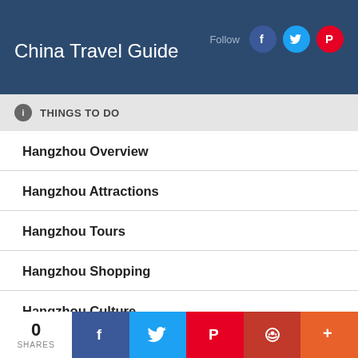China Travel Guide
THINGS TO DO
Hangzhou Overview
Hangzhou Attractions
Hangzhou Tours
Hangzhou Shopping
Hangzhou Culture
Hangzhou Festivals and Events
0 SHARES